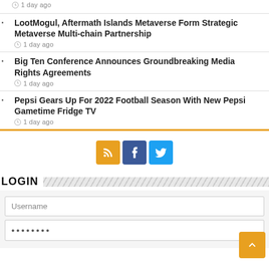1 day ago
LootMogul, Aftermath Islands Metaverse Form Strategic Metaverse Multi-chain Partnership
1 day ago
Big Ten Conference Announces Groundbreaking Media Rights Agreements
1 day ago
Pepsi Gears Up For 2022 Football Season With New Pepsi Gametime Fridge TV
1 day ago
[Figure (infographic): Social media icons: RSS (orange), Facebook (dark blue), Twitter (light blue)]
LOGIN
Username
••••••••